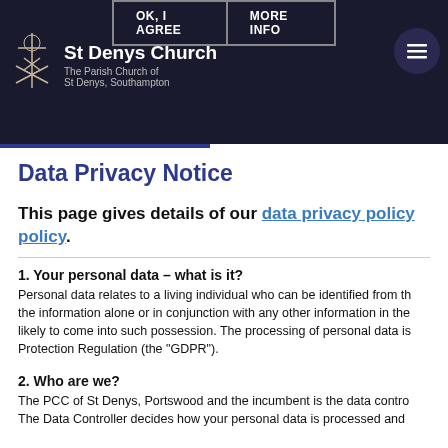OK, I AGREE | MORE INFO | St Denys Church - The Parish Church of St Denys, Southampton
Data Privacy Notice
This page gives details of our data privacy policy.
1. Your personal data – what is it?
Personal data relates to a living individual who can be identified from the information alone or in conjunction with any other information in the likely to come into such possession. The processing of personal data is Protection Regulation (the "GDPR").
2. Who are we?
The PCC of St Denys, Portswood and the incumbent is the data contro The Data Controller decides how your personal data is processed and